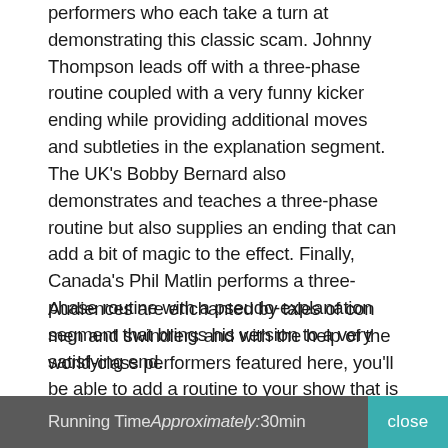performers who each take a turn at demonstrating this classic scam. Johnny Thompson leads off with a three-phase routine coupled with a very funny kicker ending while providing additional moves and subtleties in the explanation segment. The UK's Bobby Bernard also demonstrates and teaches a three-phase routine but also supplies an ending that can add a bit of magic to the effect. Finally, Canada's Phil Matlin performs a three-phase routine with a pseudo-explanation segment that brings his version to a very satisfying end.
Audiences are enchanted by tales of con men and swindlers and with the help of the world-class performers featured here, you'll be able to add a routine to your show that is not only inherently interesting but is something that your spectators are unlikely to have ever seen before.
Running Time Approximately: 30min